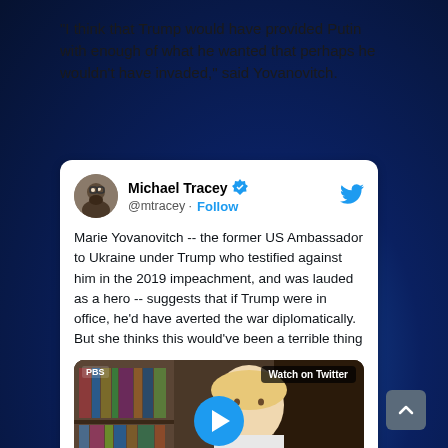“I think that Trump would have provided Putin with enough of what he wanted that perhaps he wouldn’t have invaded,” said Yovanovitch.
[Figure (screenshot): Embedded tweet from Michael Tracey (@mtracey) with verified checkmark and Follow button. Tweet text: Marie Yovanovitch -- the former US Ambassador to Ukraine under Trump who testified against him in the 2019 impeachment, and was lauded as a hero -- suggests that if Trump were in office, he'd have averted the war diplomatically. But she thinks this would've been a terrible thing. Below the text is a video thumbnail showing a woman in front of bookshelves with PBS logo and a 'Watch on Twitter' label, and a blue play button.]